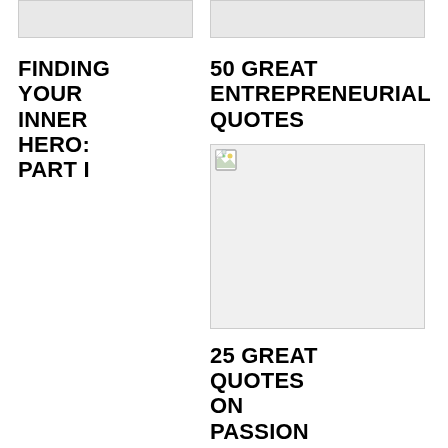[Figure (other): Thumbnail image placeholder top left]
[Figure (other): Thumbnail image placeholder top right]
FINDING YOUR INNER HERO: PART I
50 GREAT ENTREPRENEURIAL QUOTES
[Figure (other): Broken/missing image placeholder, tall portrait orientation]
25 GREAT QUOTES ON PASSION